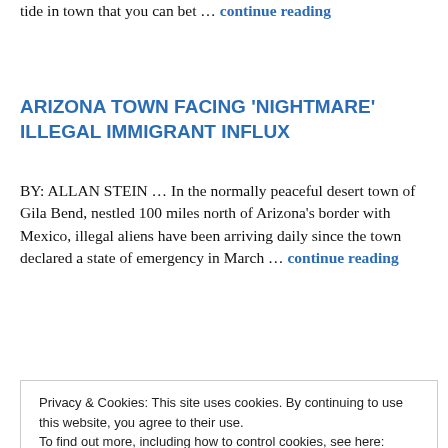tide in town that you can bet … continue reading
ARIZONA TOWN FACING 'NIGHTMARE' ILLEGAL IMMIGRANT INFLUX
BY: ALLAN STEIN … In the normally peaceful desert town of Gila Bend, nestled 100 miles north of Arizona's border with Mexico, illegal aliens have been arriving daily since the town declared a state of emergency in March … continue reading
Privacy & Cookies: This site uses cookies. By continuing to use this website, you agree to their use.
To find out more, including how to control cookies, see here:
Cookie Policy
officers who responded to the Jan. 6 riot at the U.S.